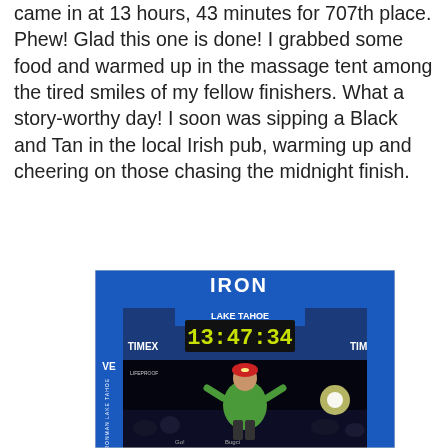came in at 13 hours, 43 minutes for 707th place. Phew! Glad this one is done! I grabbed some food and warmed up in the massage tent among the tired smiles of my fellow finishers. What a story-worthy day! I soon was sipping a Black and Tan in the local Irish pub, warming up and cheering on those chasing the midnight finish.
[Figure (photo): Athlete crossing the finish line at Ironman Lake Tahoe at night. A digital clock above shows 13:47:34. Timex branding visible. The athlete wears a green shirt and red cap, arms raised, crossing under the blue Ironman arch.]